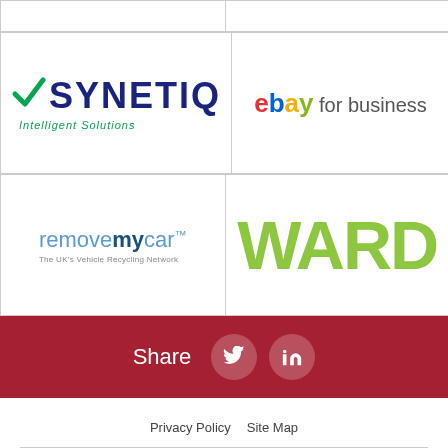[Figure (logo): SYNETIQ Intelligent Solutions logo — dark blue bold text with green checkmark]
[Figure (logo): eBay for business logo — multicolor eBay text with grey 'for business']
[Figure (logo): removemycar — The UK's Vehicle Recycling Network logo]
[Figure (logo): WARD logo in bold lime green text]
Share
Privacy Policy   Site Map
Website by Tann Westlake